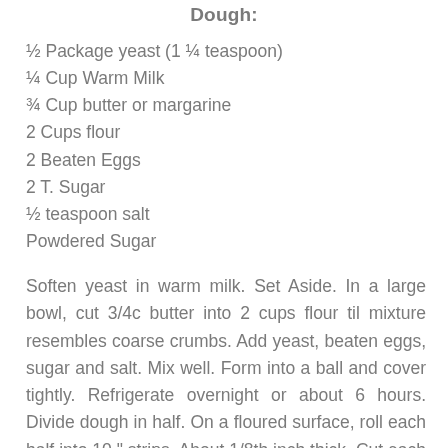Dough:
½ Package yeast (1 ¼ teaspoon)
¼ Cup Warm Milk
¾ Cup butter or margarine
2 Cups flour
2 Beaten Eggs
2 T. Sugar
½ teaspoon salt
Powdered Sugar
Soften yeast in warm milk. Set Aside. In a large bowl, cut 3/4c butter into 2 cups flour til mixture resembles coarse crumbs. Add yeast, beaten eggs, sugar and salt. Mix well. Form into a ball and cover tightly. Refrigerate overnight or about 6 hours. Divide dough in half. On a floured surface, roll each half into 10 " strips. About 1/8th inch thick. Cut each long strip into approximately 3